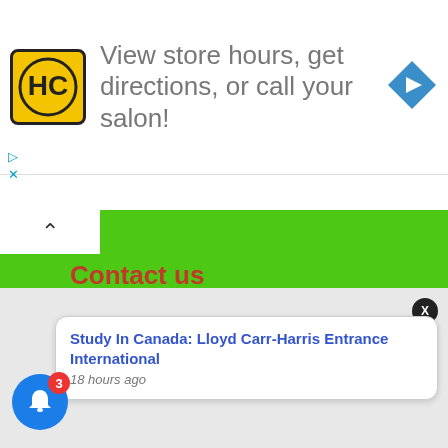[Figure (infographic): Advertisement banner with HC logo, text 'View store hours, get directions, or call your salon!', and a blue navigation arrow icon]
Contact us
Disclaimer
Privacy Policy
Terms and conditions
Study In Canada: Lloyd Carr-Harris Entrance International
18 hours ago